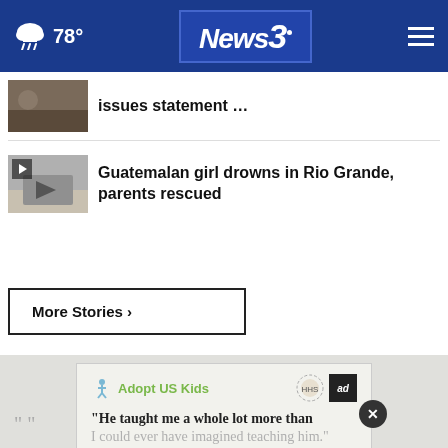78° News3
issues statement ...
Guatemalan girl drowns in Rio Grande, parents rescued
More Stories ›
[Figure (advertisement): Adopt US Kids advertisement with quote: He taught me a whole lot more than I could ever have imagined teaching him.]